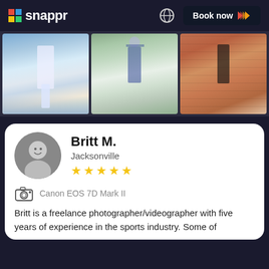snappr
[Figure (photo): Three graduation/portrait photos shown in a horizontal strip]
Britt M.
Jacksonville
★★★★★
Canon EOS 7D Mark II
Britt is a freelance photographer/videographer with five years of experience in the sports industry. Some of